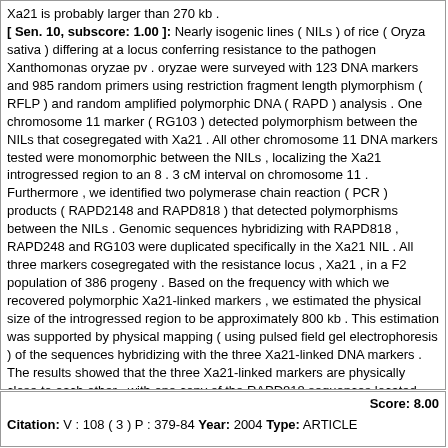Xa21 is probably larger than 270 kb . [ Sen. 10, subscore: 1.00 ]: Nearly isogenic lines ( NILs ) of rice ( Oryza sativa ) differing at a locus conferring resistance to the pathogen Xanthomonas oryzae pv . oryzae were surveyed with 123 DNA markers and 985 random primers using restriction fragment length plymorphism ( RFLP ) and random amplified polymorphic DNA ( RAPD ) analysis . One chromosome 11 marker ( RG103 ) detected polymorphism between the NILs that cosegregated with Xa21 . All other chromosome 11 DNA markers tested were monomorphic between the NILs , localizing the Xa21 introgressed region to an 8 . 3 cM interval on chromosome 11 . Furthermore , we identified two polymerase chain reaction ( PCR ) products ( RAPD2148 and RAPD818 ) that detected polymorphisms between the NILs . Genomic sequences hybridizing with RAPD818 , RAPD248 and RG103 were duplicated specifically in the Xa21 NIL . All three markers cosegregated with the resistance locus , Xa21 , in a F2 population of 386 progeny . Based on the frequency with which we recovered polymorphic Xa21-linked markers , we estimated the physical size of the introgressed region to be approximately 800 kb . This estimation was supported by physical mapping ( using pulsed field gel electrophoresis ) of the sequences hybridizing with the three Xa21-linked DNA markers . The results showed that the three Xa21-linked markers are physically close to each other , with one copy of the RAPD818 sequences located within 60 kb of RAPD248 and the other copy within 270 kb of RG103 . None of the enzymes tested generated a DNA fragment that hybridized with all three of the markers indicating that the introgressed region containing the resistance locus Xa21 is probably larger than 270 kb .
Score: 8.00
Citation: V : 108 ( 3 ) P : 379-84 Year: 2004 Type: ARTICLE